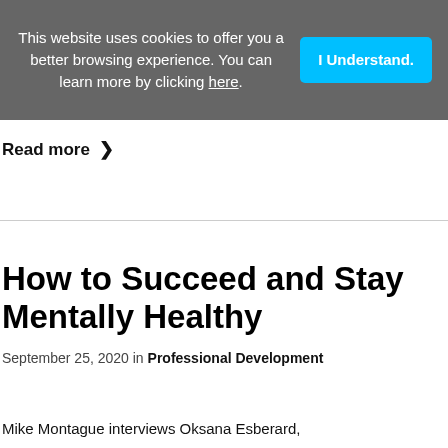This website uses cookies to offer you a better browsing experience. You can learn more by clicking here.
I Understand.
Read more >
How to Succeed and Stay Mentally Healthy
September 25, 2020 in Professional Development
Mike Montague interviews Oksana Esberard,